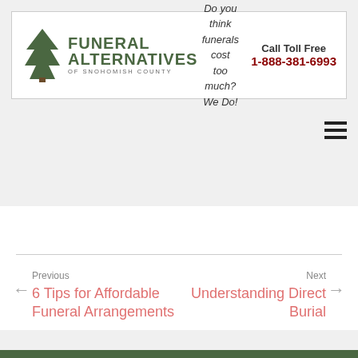[Figure (logo): Funeral Alternatives of Snohomish County logo with tree icon, tagline 'Do you think funerals cost too much? We Do!' and phone number 'Call Toll Free 1-888-381-6993']
Previous
6 Tips for Affordable Funeral Arrangements
Next
Understanding Direct Burial